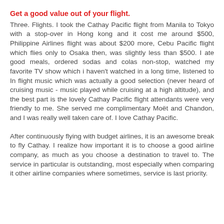Get a good value out of your flight.
Three. Flights. I took the Cathay Pacific flight from Manila to Tokyo with a stop-over in Hong kong and it cost me around $500, Philippine Airlines flight was about $200 more, Cebu Pacific flight which flies only to Osaka then, was slightly less than $500. I ate good meals, ordered sodas and colas non-stop, watched my favorite TV show which i haven't watched in a long time, listened to In flight music which was actually a good selection (never heard of cruising music - music played while cruising at a high altitude), and the best part is the lovely Cathay Pacific flight attendants were very friendly to me. She served me complimentary Moët and Chandon, and I was really well taken care of. I love Cathay Pacific.
After continuously flying with budget airlines, it is an awesome break to fly Cathay. I realize how important it is to choose a good airline company, as much as you choose a destination to travel to. The service in particular is outstanding, most especially when comparing it other airline companies where sometimes, service is last priority.